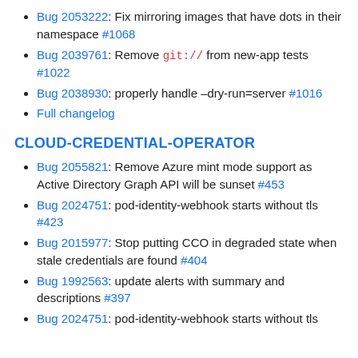Bug 2053222: Fix mirroring images that have dots in their namespace #1068
Bug 2039761: Remove git:// from new-app tests #1022
Bug 2038930: properly handle –dry-run=server #1016
Full changelog
CLOUD-CREDENTIAL-OPERATOR
Bug 2055821: Remove Azure mint mode support as Active Directory Graph API will be sunset #453
Bug 2024751: pod-identity-webhook starts without tls #423
Bug 2015977: Stop putting CCO in degraded state when stale credentials are found #404
Bug 1992563: update alerts with summary and descriptions #397
Bug 2024751: pod-identity-webhook starts without tls